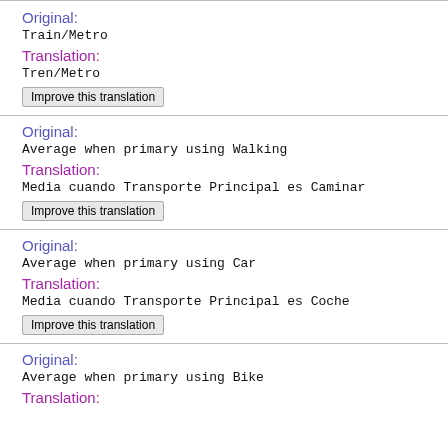Original:
Train/Metro
Translation:
Tren/Metro
Improve this translation
Original:
Average when primary using Walking
Translation:
Media cuando Transporte Principal es Caminar
Improve this translation
Original:
Average when primary using Car
Translation:
Media cuando Transporte Principal es Coche
Improve this translation
Original:
Average when primary using Bike
Translation: